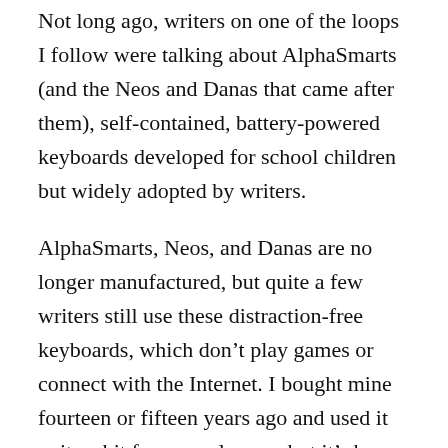Not long ago, writers on one of the loops I follow were talking about AlphaSmarts (and the Neos and Danas that came after them), self-contained, battery-powered keyboards developed for school children but widely adopted by writers.
AlphaSmarts, Neos, and Danas are no longer manufactured, but quite a few writers still use these distraction-free keyboards, which don't play games or connect with the Internet. I bought mine fourteen or fifteen years ago and used it quite a bit for several years, but it's been sitting on a bookshelf for a long time. The mention of things like corroding batteries (the Alphie operates on three ordinary AAs) made me think I should check on mine.